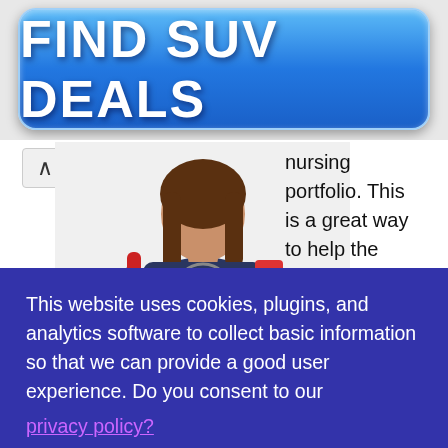[Figure (other): Blue rounded rectangle button with text FIND SUV DEALS in white bold letters, styled as an advertisement banner]
[Figure (photo): Photo of a female nursing student wearing dark blue scrubs and a stethoscope, carrying a red bag and clipboard, with a red backpack]
nursing portfolio. This is a great way to help the
This website uses cookies, plugins, and analytics software to collect basic information so that we can provide a good user experience. Do you consent to our privacy policy?
I Consent!
held for several years.